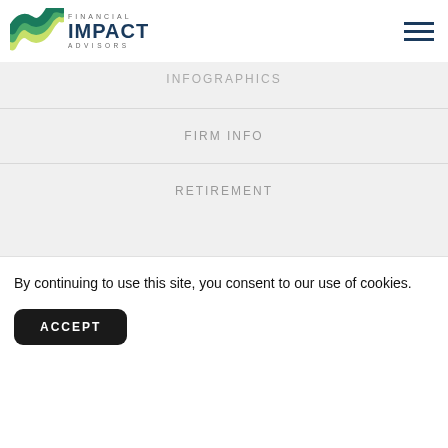[Figure (logo): Financial Impact Advisors logo with green wave graphic and company name]
INFOGRAPHICS
FIRM INFO
RETIREMENT
By continuing to use this site, you consent to our use of cookies.
ACCEPT